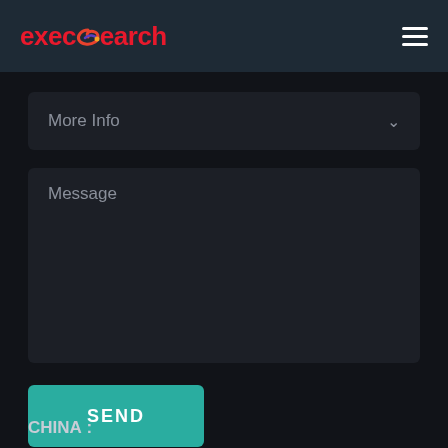execsearch
More Info
Message
SEND
CHINA :